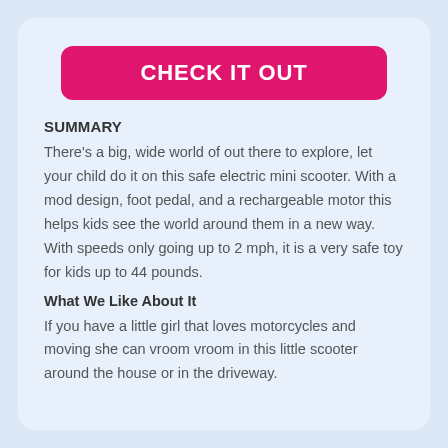CHECK IT OUT
SUMMARY
There’s a big, wide world of out there to explore, let your child do it on this safe electric mini scooter. With a mod design, foot pedal, and a rechargeable motor this helps kids see the world around them in a new way. With speeds only going up to 2 mph, it is a very safe toy for kids up to 44 pounds.
What We Like About It
If you have a little girl that loves motorcycles and moving she can vroom vroom in this little scooter around the house or in the driveway.